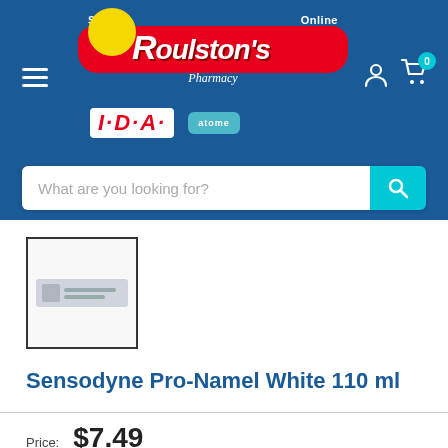[Figure (screenshot): Roulston's Pharmacy IDA online shop header with logo, search bar, user and cart icons]
[Figure (photo): Thumbnail image of Sensodyne Pro-Namel White 110ml product]
Sensodyne Pro-Namel White 110 ml
Price: $7.49